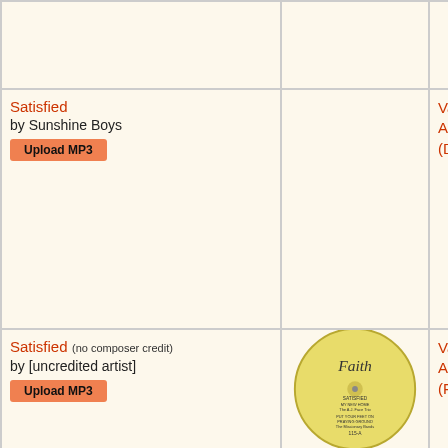|  |  |  |
| Satisfied
by Sunshine Boys
[Upload MP3] |  | Various Artists (Diplomat) |
| Satisfied (no composer credit)
by [uncredited artist]
[Upload MP3] | [Faith record label image] | Various Artists (Faith mail) |
| Satisfied (no composer credit)
by [uncredited artist]
[Upload MP3] | [Upload Label Shot button] | Various Artists (Faith mail) |